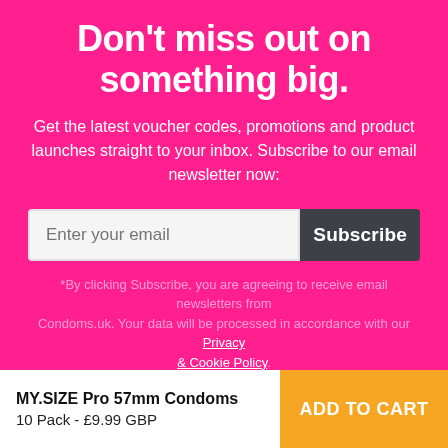Don't miss out on something big.
Get the latest voucher codes, promotions and product launches straight to your inbox. Subscribe to our email newsletter now:
[Figure (other): Email subscription form with input field placeholder 'Enter your email' and a dark grey 'Subscribe' button]
*By clicking Subscribe, you are agreeing to receive email newsletters from Condoms.uk. Your data will be processed in accordance with our Privacy & Cookie Policy.
MY.SIZE Pro 57mm Condoms
10 Pack - £9.99 GBP
ADD TO CART